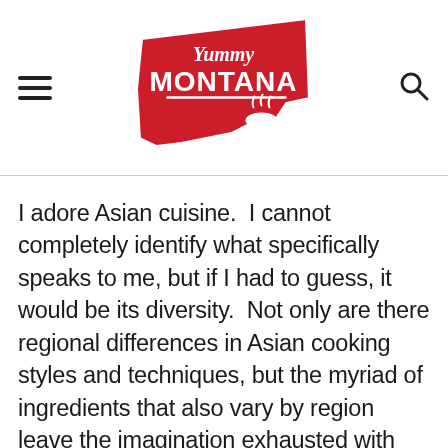[Figure (logo): Yummy Montana blog logo — red Montana state shape with 'Yummy Montana' text and a bowl with steam icon in white]
I adore Asian cuisine.  I cannot completely identify what specifically speaks to me, but if I had to guess, it would be its diversity.  Not only are there regional differences in Asian cooking styles and techniques, but the myriad of ingredients that also vary by region leave the imagination exhausted with possibilities.